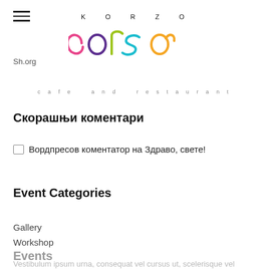KORZO
corso
cafe and restaurant
Sh.org
Скорашњи коментари
Вордпресов коментатор на Здраво, свете!
Event Categories
Gallery
Workshop
Events
Vestibulum ipsum urna, consequat vel cursus ut, scelerisque vel